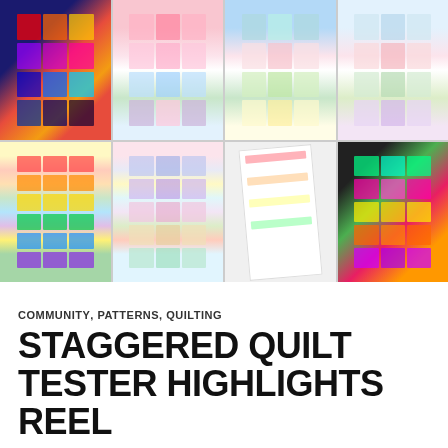[Figure (photo): A 4x2 grid of eight quilt photos showing different colorways of the Staggered Quilt pattern. Top row: dark rainbow/ombre quilt, pink/pastel quilt on white background, blue/multi-color quilt outdoors, light pastel quilt outdoors. Bottom row: rainbow multicolor quilt, blue/purple ombre quilt, white/pink quilt shown at angle, dark background neon colorful quilt.]
COMMUNITY, PATTERNS, QUILTING
STAGGERED QUILT TESTER HIGHLIGHTS REEL
FEBRUARY 29, 2020   2 COMMENTS
One of the absolute best parts of designing quilt patterns is seeing other people's take on it. I often have a vision of the finished quilt in mind as I'm designing so it's fun to see my own vision become a reality, but then putting the pattern into the